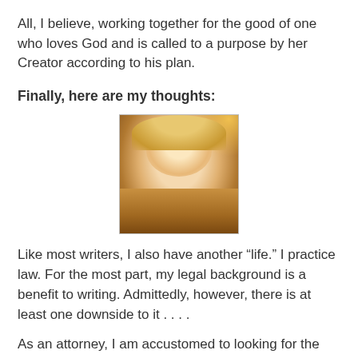All, I believe, working together for the good of one who loves God and is called to a purpose by her Creator according to his plan.
Finally, here are my thoughts:
[Figure (photo): A smiling woman with blonde hair holding a golden retriever dog, photographed in warm indoor lighting.]
Like most writers, I also have another “life.” I practice law. For the most part, my legal background is a benefit to writing. Admittedly, however, there is at least one downside to it . . . .
As an attorney, I am accustomed to looking for the holes in things. Why didn’t the character just do this obvious